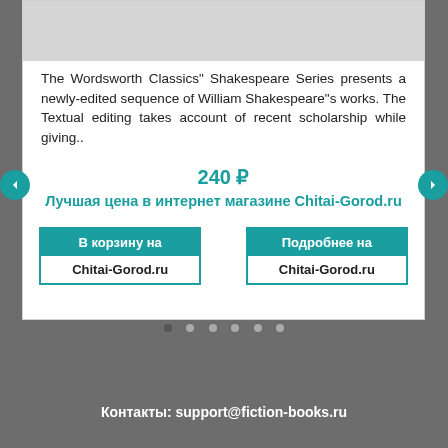[Figure (photo): Gray placeholder image for book cover]
The Wordsworth Classics" Shakespeare Series presents a newly-edited sequence of William Shakespeare"s works. The Textual editing takes account of recent scholarship while giving..
240 ₽
Лучшая цена в интернет магазине Chitai-Gorod.ru
В корзину на Chitai-Gorod.ru
Подробнее на Chitai-Gorod.ru
Контакты: support@fiction-books.ru